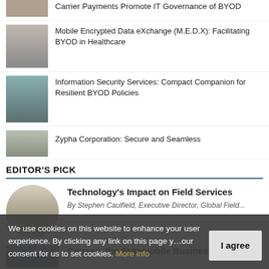Carrier Payments Promote IT Governance of BYOD
[Figure (photo): Partial headshot photo at top]
Mobile Encrypted Data eXchange (M.E.D.X): Facilitating BYOD in Healthcare
[Figure (photo): Man in suit headshot]
Information Security Services: Compact Companion for Resilient BYOD Policies
[Figure (photo): Man headshot with light blue background]
Zypha Corporation: Secure and Seamless
[Figure (photo): Partial headshot at bottom of list]
EDITOR'S PICK
Technology's Impact on Field Services
By Stephen Caulfield, Executive Director, Global Field...
[Figure (photo): Man with long hair, circular cropped photo]
Carmax, the Automobile Business
[Figure (photo): Partial face photo for Carmax article]
We use cookies on this website to enhance your user experience. By clicking any link on this page you give your consent for us to set cookies. More info